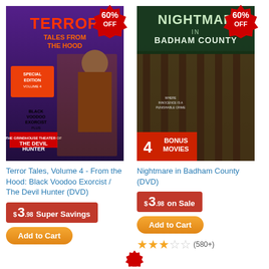[Figure (photo): DVD cover for Terror Tales, Volume 4 - From the Hood: Black Voodoo Exorcist / The Devil Hunter with 60% OFF badge]
[Figure (photo): DVD cover for Nightmare in Badham County with 60% OFF badge and 4 Bonus Movies text]
Terror Tales, Volume 4 - From the Hood: Black Voodoo Exorcist / The Devil Hunter (DVD)
Nightmare in Badham County (DVD)
$3.98 Super Savings
$3.98 on Sale
Add to Cart
Add to Cart
(580+)